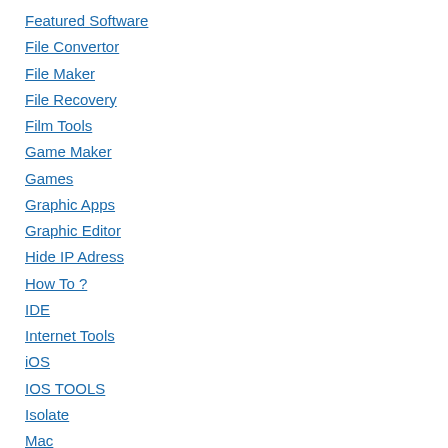Featured Software
File Convertor
File Maker
File Recovery
Film Tools
Game Maker
Games
Graphic Apps
Graphic Editor
Hide IP Adress
How To ?
IDE
Internet Tools
iOS
IOS TOOLS
Isolate
Mac
Marketing Tools
MS Office